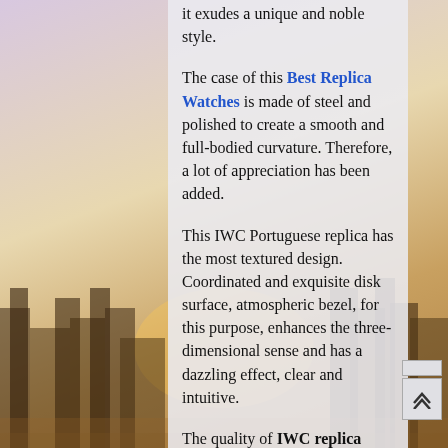[Figure (illustration): City skyline background with warm golden/purple gradient sky and building silhouettes]
it exudes a unique and noble style.
The case of this Best Replica Watches is made of steel and polished to create a smooth and full-bodied curvature. Therefore, a lot of appreciation has been added.
This IWC Portuguese replica has the most textured design. Coordinated and exquisite disk surface, atmospheric bezel, for this purpose, enhances the three-dimensional sense and has a dazzling effect, clear and intuitive.
The quality of IWC replica swiss movement watches has always been the most trustworthy. Precise operation.